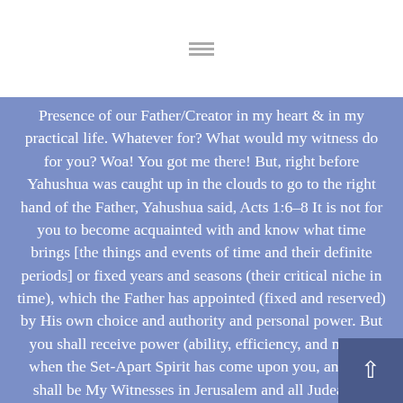Presence of our Father/Creator in my heart & in my practical life. Whatever for? What would my witness do for you? Woa! You got me there! But, right before Yahushua was caught up in the clouds to go to the right hand of the Father, Yahushua said, Acts 1:6–8 It is not for you to become acquainted with and know what time brings [the things and events of time and their definite periods] or fixed years and seasons (their critical niche in time), which the Father has appointed (fixed and reserved) by His own choice and authority and personal power. But you shall receive power (ability, efficiency, and might) when the Set-Apart Spirit has come upon you, and you shall be My Witnesses in Jerusalem and all Judea and Samaria and to the ends (the very bounds) of the earth. ... In view of the above Scriptures the writer records the journal of her daily living to give an account—to